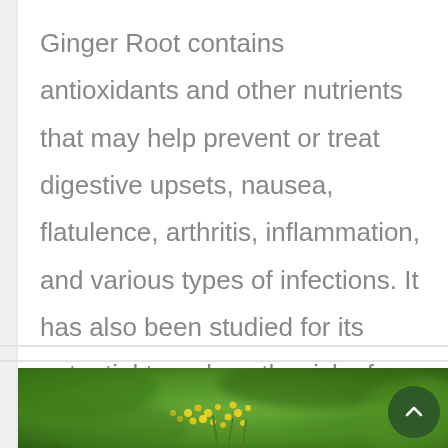Ginger Root contains antioxidants and other nutrients that may help prevent or treat digestive upsets, nausea, flatulence, arthritis, inflammation, and various types of infections. It has also been studied for its potential to reduce the risk of diabetes and other health problems.
[Figure (photo): Close-up photograph of yellow flowering plant (likely fennel or dill) against a blurred green background]